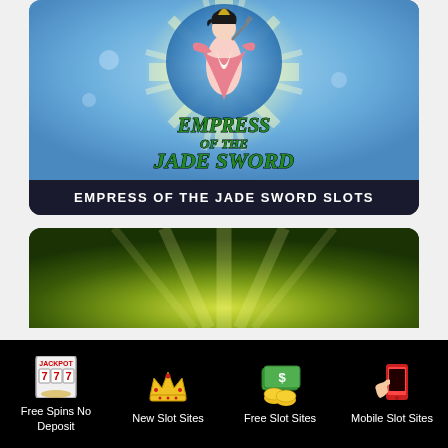[Figure (screenshot): Empress of the Jade Sword slot game promotional card with blue background, star burst, and character illustration]
EMPRESS OF THE JADE SWORD SLOTS
[Figure (screenshot): Second slot game card with green radial background and light burst effect, partially visible]
[Figure (infographic): Bottom navigation bar with four icons: Free Spins No Deposit (jackpot slot machine icon), New Slot Sites (crown icon), Free Slot Sites (money/cash icon), Mobile Slot Sites (mobile phone icon)]
Free Spins No Deposit
New Slot Sites
Free Slot Sites
Mobile Slot Sites